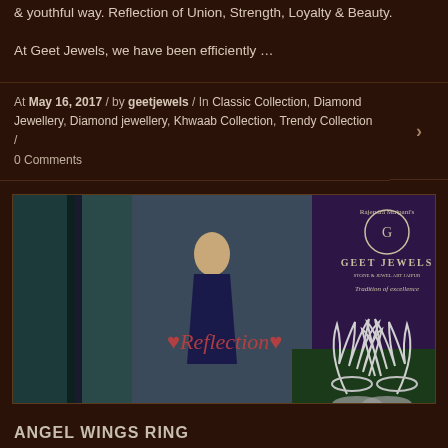& youthful way. Reflection of Union, Strength, Loyalty & Beauty.

At Geet Jewels, we have been efficiently …
At  May 16, 2017  / by  geetjewels  / In  Classic Collection ,  Diamond Jewellery ,  Diamond jewellery ,  Khwaab Collection ,  Trendy Collection  /  0 Comments
[Figure (photo): Geet Jewels Reflection collection promotional photo showing a woman in an elegant gown alongside diamond angel wing rings, with Rajendra Malpani's Geet Jewels logo and 'Tradition of excellence' tagline visible]
ANGEL WINGS RING